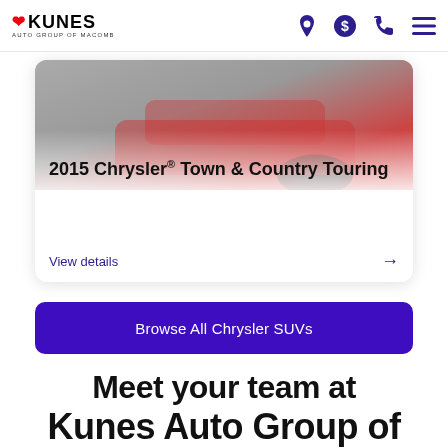KUNES AUTO GROUP OF MACOMB — navigation bar with logo, location, payment, phone, and menu icons
[Figure (photo): 2015 Chrysler Town & Country Touring vehicle card with partial car image at top]
2015 Chrysler® Town & Country Touring
View details →
Browse All Chrysler SUVs
Meet your team at Kunes Auto Group of